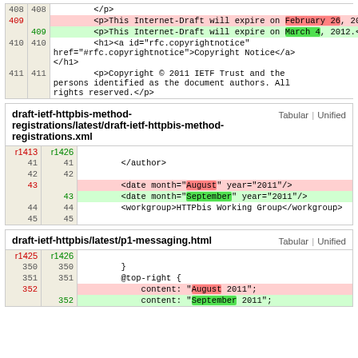| old_line | new_line | code |
| --- | --- | --- |
| 408 | 408 | </p> |
| 409 |  | <p>This Internet-Draft will expire on February 26, 2012.</p> |
|  | 409 | <p>This Internet-Draft will expire on March 4, 2012.</p> |
| 410 | 410 | <h1><a id="rfc.copyrightnotice" href="#rfc.copyrightnotice">Copyright Notice</a></h1> |
| 411 | 411 | <p>Copyright © 2011 IETF Trust and the persons identified as the document authors. All rights reserved.</p> |
draft-ietf-httpbis-method-registrations/latest/draft-ietf-httpbis-method-registrations.xml
| old_line | new_line | code |
| --- | --- | --- |
| r1413 | r1426 |  |
| 41 | 41 | </author> |
| 42 | 42 |  |
| 43 |  | <date month="August" year="2011"/> |
|  | 43 | <date month="September" year="2011"/> |
| 44 | 44 | <workgroup>HTTPbis Working Group</workgroup> |
| 45 | 45 |  |
draft-ietf-httpbis/latest/p1-messaging.html
| old_line | new_line | code |
| --- | --- | --- |
| r1425 | r1426 |  |
| 350 | 350 | } |
| 351 | 351 | @top-right { |
| 352 |  |     content: "August 2011"; |
|  | 352 |     content: "September 2011"; |